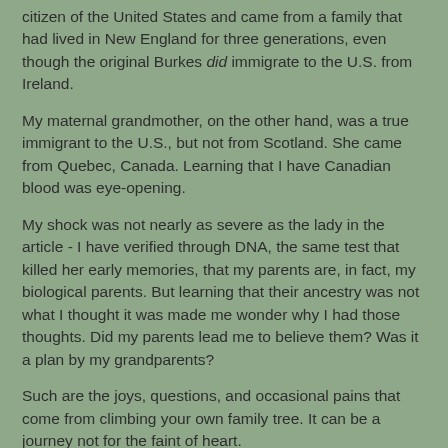citizen of the United States and came from a family that had lived in New England for three generations, even though the original Burkes did immigrate to the U.S. from Ireland.
My maternal grandmother, on the other hand, was a true immigrant to the U.S., but not from Scotland. She came from Quebec, Canada. Learning that I have Canadian blood was eye-opening.
My shock was not nearly as severe as the lady in the article - I have verified through DNA, the same test that killed her early memories, that my parents are, in fact, my biological parents. But learning that their ancestry was not what I thought it was made me wonder why I had those thoughts. Did my parents lead me to believe them? Was it a plan by my grandparents?
Such are the joys, questions, and occasional pains that come from climbing your own family tree. It can be a journey not for the faint of heart.
James at 10:57 AM    No comments: